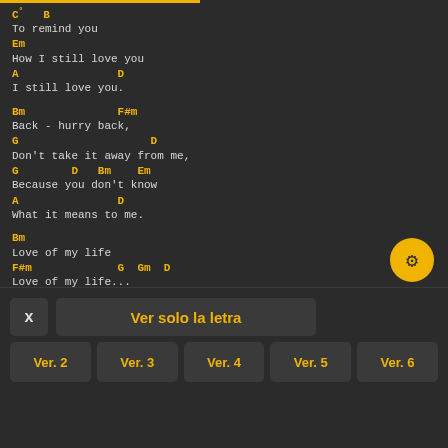C° B
To remind you
Em
How I still love you
A                D
I still love you.
Bm              F#m
Back - hurry back,
G                    D
Don't take it away from me,
G        D   Bm    Em
Because you don't know
A                D
What it means to me.
Bm
Love of my life
F#m              G  Gm  D
Love of my life...
[Figure (screenshot): Settings gear button (circular yellow button)]
X   Ver solo la letra
Ver. 2   Ver. 3   Ver. 4   Ver. 5   Ver. 6